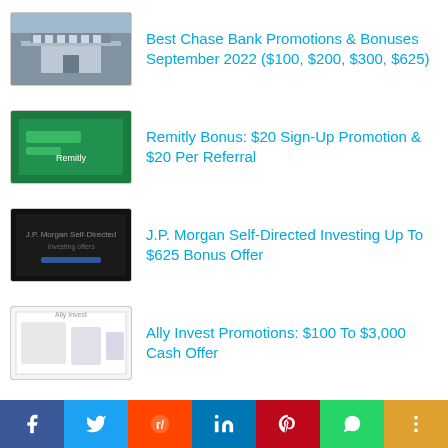Best Chase Bank Promotions & Bonuses September 2022 ($100, $200, $300, $625)
Remitly Bonus: $20 Sign-Up Promotion & $20 Per Referral
J.P. Morgan Self-Directed Investing Up To $625 Bonus Offer
Ally Invest Promotions: $100 To $3,000 Cash Offer
BMO Harris Bank $300 & $500 Checking Account, $60 Savings Offers
TD Bank Bonus: $300 Beyond Checking & $200 Convenience